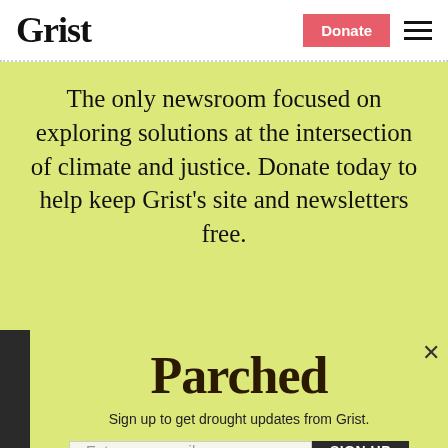Grist
The only newsroom focused on exploring solutions at the intersection of climate and justice. Donate today to help keep Grist's site and newsletters free.
Support Grist
Parched
Sign up to get drought updates from Grist.
Enter your email | SIGN UP
No thanks